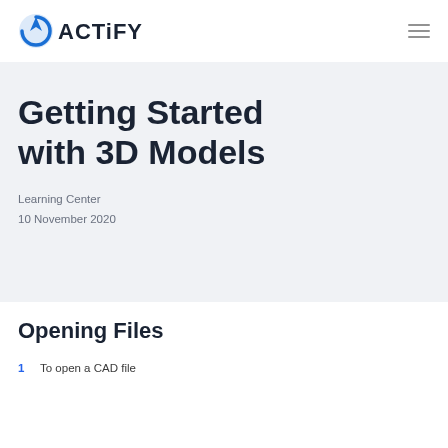ACTIFY
Getting Started with 3D Models
Learning Center
10 November 2020
Opening Files
1  To open a CAD file